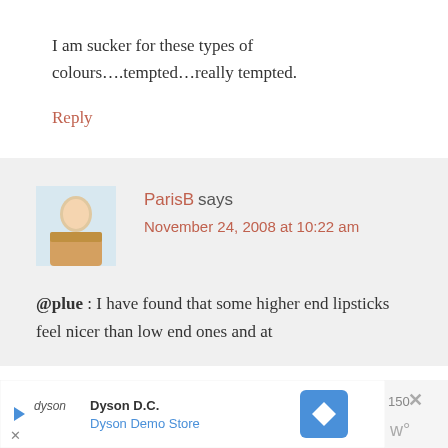I am sucker for these types of colours….tempted…really tempted.
Reply
ParisB says
November 24, 2008 at 10:22 am
@plue : I have found that some higher end lipsticks feel nicer than low end ones and at
[Figure (infographic): Advertisement banner for Dyson D.C. / Dyson Demo Store with play button, Dyson logo, navigation icon, close button and weather widget icons]